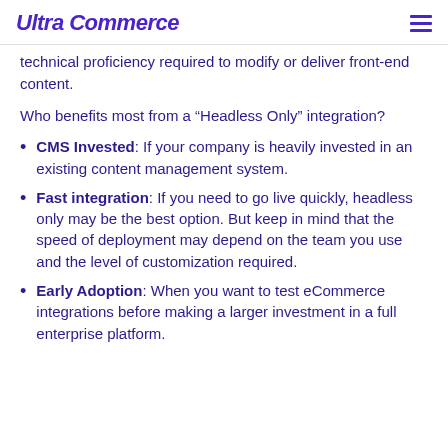Ultra Commerce
technical proficiency required to modify or deliver front-end content.
Who benefits most from a “Headless Only” integration?
CMS Invested: If your company is heavily invested in an existing content management system.
Fast integration: If you need to go live quickly, headless only may be the best option. But keep in mind that the speed of deployment may depend on the team you use and the level of customization required.
Early Adoption: When you want to test eCommerce integrations before making a larger investment in a full enterprise platform.